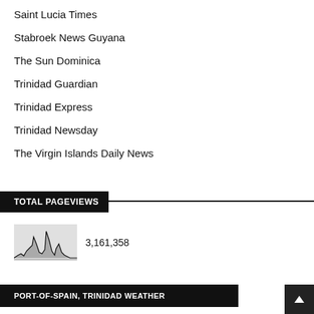Saint Lucia Times
Stabroek News Guyana
The Sun Dominica
Trinidad Guardian
Trinidad Express
Trinidad Newsday
The Virgin Islands Daily News
TOTAL PAGEVIEWS
[Figure (continuous-plot): Area/line chart showing pageview traffic over time with spikes]
3,161,358
PORT-OF-SPAIN, TRINIDAD WEATHER